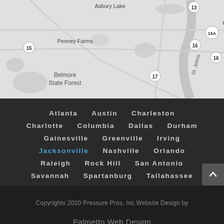[Figure (map): Grayscale road map showing area near Jacksonville, FL including Asbury Lake, Green Cove Springs, Penney Farms, Belmore State Forest, and St. Johns River with route markers 13, 16, 16A, 17]
Atlanta   Austin   Charleston
Charlotte   Columbia   Dallas   Durham
Gainesville   Greenville   Irving
Jacksonville   Nashville   Orlando
Raleigh   Rock Hill   San Antonio
Savannah   Spartanburg   Tallahassee
Copyrights 2020 Pressure Pros, Inc Website Design by
Palmetto Web Design